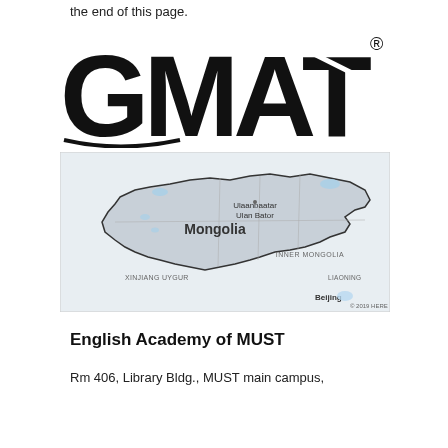the end of this page.
[Figure (logo): GMAT registered trademark logo in large bold black text]
[Figure (map): Map showing Mongolia and surrounding regions including Ulaanbaatar/Ulan Bator, Inner Mongolia, Xinjiang Uygur, Beijing, Liaoning. Map from HERE maps, © 2019 HERE.]
English Academy of MUST
Rm 406, Library Bldg., MUST main campus,